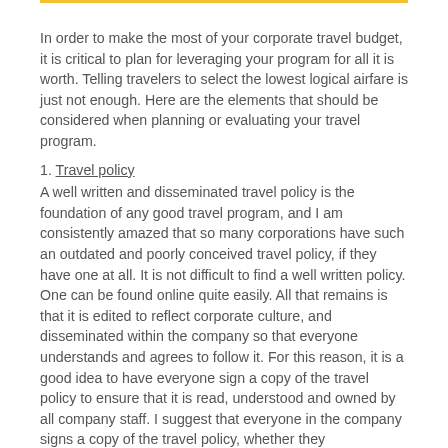In order to make the most of your corporate travel budget, it is critical to plan for leveraging your program for all it is worth. Telling travelers to select the lowest logical airfare is just not enough. Here are the elements that should be considered when planning or evaluating your travel program.
1. Travel policy
A well written and disseminated travel policy is the foundation of any good travel program, and I am consistently amazed that so many corporations have such an outdated and poorly conceived travel policy, if they have one at all. It is not difficult to find a well written policy. One can be found online quite easily. All that remains is that it is edited to reflect corporate culture, and disseminated within the company so that everyone understands and agrees to follow it. For this reason, it is a good idea to have everyone sign a copy of the travel policy to ensure that it is read, understood and owned by all company staff. I suggest that everyone in the company signs a copy of the travel policy, whether they